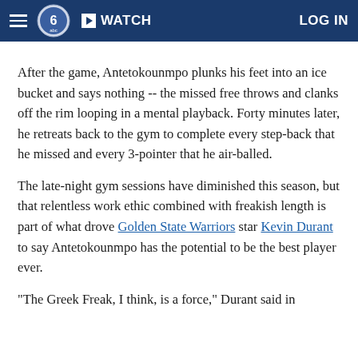WATCH   LOG IN
After the game, Antetokounmpo plunks his feet into an ice bucket and says nothing -- the missed free throws and clanks off the rim looping in a mental playback. Forty minutes later, he retreats back to the gym to complete every step-back that he missed and every 3-pointer that he air-balled.
The late-night gym sessions have diminished this season, but that relentless work ethic combined with freakish length is part of what drove Golden State Warriors star Kevin Durant to say Antetokounmpo has the potential to be the best player ever.
"The Greek Freak, I think, is a force," Durant said in